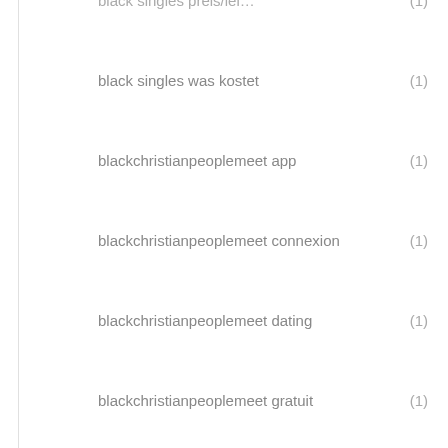black singles was kostet (1)
blackchristianpeoplemeet app (1)
blackchristianpeoplemeet connexion (1)
blackchristianpeoplemeet dating (1)
blackchristianpeoplemeet gratuit (1)
blackchristianpeoplemeet review (2)
blackcupid pc (1)
blackcupid reviews
blackcupid web (1)